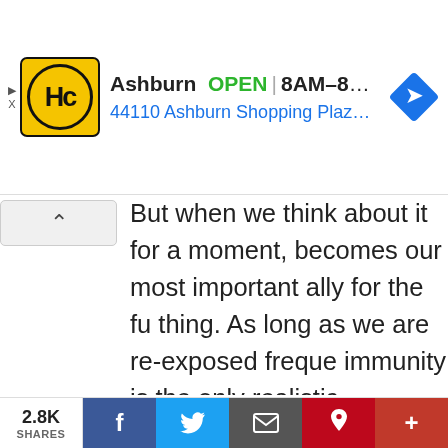[Figure (screenshot): Hc (Handling Club) advertisement banner showing Ashburn location, OPEN 8AM-8PM, address 44110 Ashburn Shopping Plaza 190, A..., with yellow logo and blue navigation arrow icon]
But when we think about it for a moment, becomes our most important ally for the fu thing. As long as we are re-exposed freque immunity is the only realistic evolutionary s viral variant or viral cousin of these fast-mu
With sufficient leftover cross-reactive immu variant of a virus may simply result in your noticing a single thing. That's what it mean started tormenting the healthy with never-
2.8K SHARES  [Facebook] [Twitter] [Email] [Pinterest] [+]